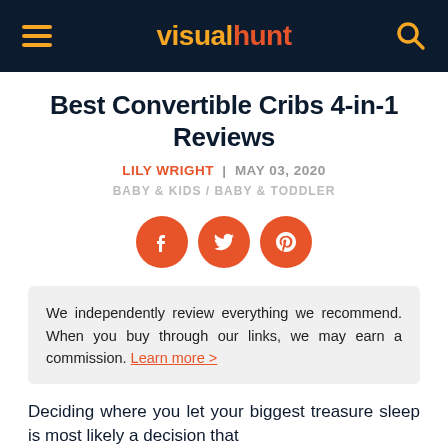visualhunt
Best Convertible Cribs 4-in-1 Reviews
LILY WRIGHT | MAY 03, 2020
BABY & KIDS / BABY & TODDLER
[Figure (illustration): Three orange circular social media icons: Facebook, Twitter, Pinterest]
We independently review everything we recommend. When you buy through our links, we may earn a commission. Learn more >
Deciding where you let your biggest treasure sleep is most likely a decision that